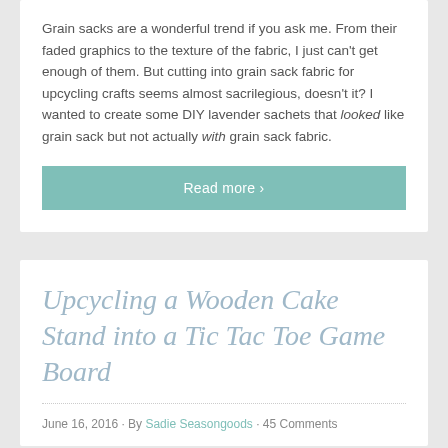Grain sacks are a wonderful trend if you ask me. From their faded graphics to the texture of the fabric, I just can't get enough of them. But cutting into grain sack fabric for upcycling crafts seems almost sacrilegious, doesn't it? I wanted to create some DIY lavender sachets that looked like grain sack but not actually with grain sack fabric.
Read more ›
Upcycling a Wooden Cake Stand into a Tic Tac Toe Game Board
June 16, 2016 · By Sadie Seasongoods · 45 Comments